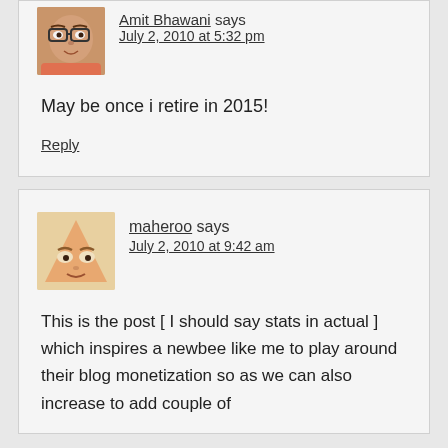Amit Bhawani says
July 2, 2010 at 5:32 pm
May be once i retire in 2015!
Reply
maheroo says
July 2, 2010 at 9:42 am
This is the post [ I should say stats in actual ] which inspires a newbee like me to play around their blog monetization so as we can also increase to add couple of